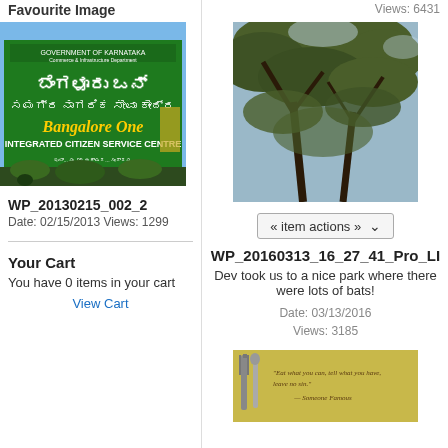Favourite Image
[Figure (photo): Bangalore One - Integrated Citizen Service Centre sign with Kannada text on green background]
WP_20130215_002_2
Date: 02/15/2013 Views: 1299
Your Cart
You have 0 items in your cart
View Cart
Views: 6431
[Figure (photo): Tree canopy with branches and leaves seen from below, natural park setting]
« item actions »
WP_20160313_16_27_41_Pro_LI
Dev took us to a nice park where there were lots of bats!
Date: 03/13/2016
Views: 3185
[Figure (photo): Cutlery with motivational quote text on yellow-green background]